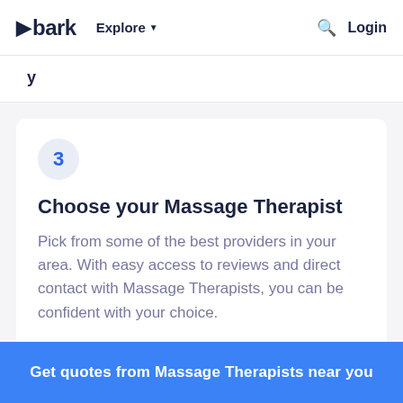bark  Explore  Login
y
3
Choose your Massage Therapist
Pick from some of the best providers in your area. With easy access to reviews and direct contact with Massage Therapists, you can be confident with your choice.
Get quotes from Massage Therapists near you